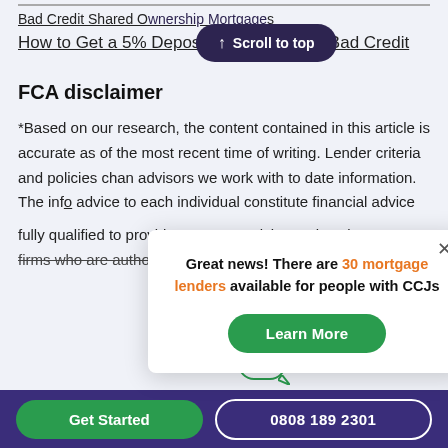Bad Credit Shared Ownership Mortgages
How to Get a 5% Deposit Mortgage With Bad Credit
FCA disclaimer
*Based on our research, the content contained in this article is accurate as of the most recent time of writing. Lender criteria and policies change regularly so speak to one of the advisors we work with to confirm the most accurate up-to-date information. The information on the site is not tailored advice to each individual reader, and as such does not constitute financial advice. All advisors working with us are fully qualified to provide mortgage advice and work with firms who are authorised and regulated by the Finance
[Figure (screenshot): Popup modal with text: Great news! There are 30 mortgage lenders available for people with CCJs, with a green Learn More button and a close X button]
[Figure (screenshot): Scroll to top button (dark purple pill shape with up arrow)]
Get Started  |  0808 189 2301